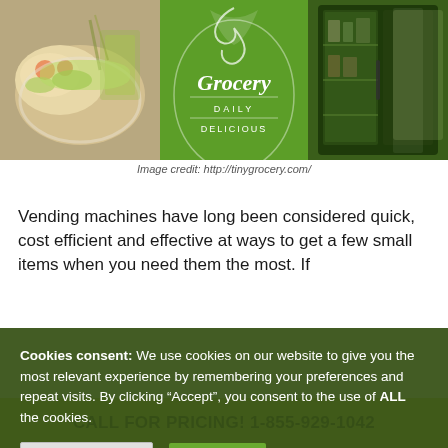[Figure (photo): Three-panel image strip: left panel shows a bowl of food (salad/grain bowl), center panel shows a green logo reading 'Grocery Daily Delicious', right panel shows a dark green refrigerator/display case.]
Image credit: http://tinygrocery.com/
Vending machines have long been considered quick, cost efficient and effective at ways to get a few small items when you need them the most. If
Cookies consent: We use cookies on our website to give you the most relevant experience by remembering your preferences and repeat visits. By clicking "Accept", you consent to the use of ALL the cookies.
CALL FOR PRICING! 1-855-929-1042